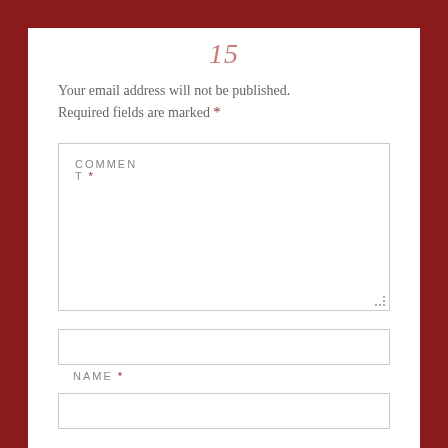15
Your email address will not be published. Required fields are marked *
COMMENT *
NAME *